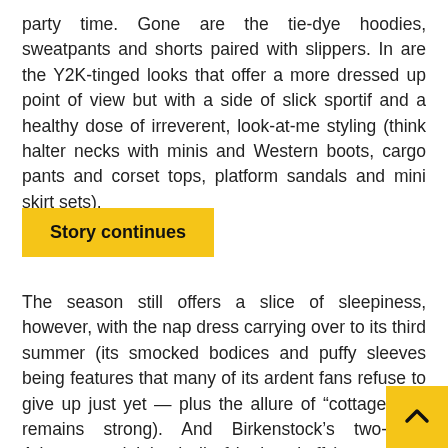party time. Gone are the tie-dye hoodies, sweatpants and shorts paired with slippers. In are the Y2K-tinged looks that offer a more dressed up point of view but with a side of slick sportif and a healthy dose of irreverent, look-at-me styling (think halter necks with minis and Western boots, cargo pants and corset tops, platform sandals and mini skirt sets).
Story continues
The season still offers a slice of sleepiness, however, with the nap dress carrying over to its third summer (its smocked bodices and puffy sleeves being features that many of its ardent fans refuse to give up just yet — plus the allure of “cottagecore” remains strong). And Birkenstock’s two-strap Arizona sandal (and all of its knockoffs) remains a quiet must-have for any and everyone. It’s followed up by its cousin, the more evergreen Boston clog, and a whole market of sensible clogs that continue to receive a glow up from fashion